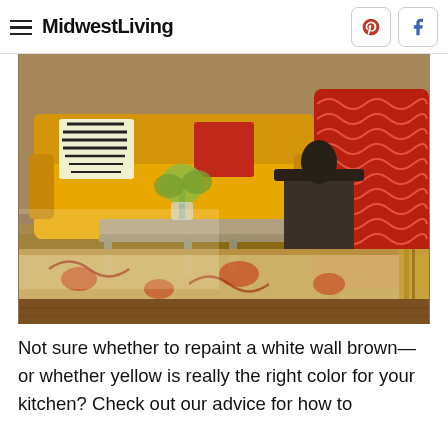MidwestLiving
[Figure (photo): Interior living room photo showing a yellow sofa with zebra-print and red pillows, a red patterned wingback chair, a wooden coffee table, and an ornate rug with red motifs on a wooden floor.]
Not sure whether to repaint a white wall brown—or whether yellow is really the right color for your kitchen? Check out our advice for how to